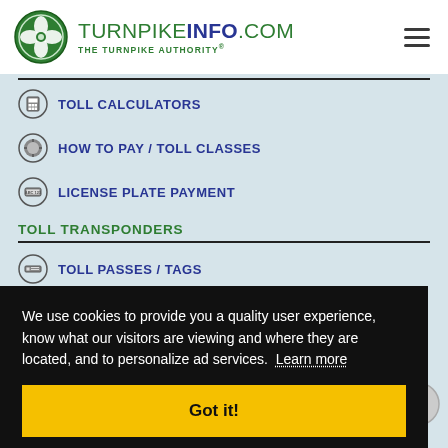TURNPIKEINFO.COM THE TURNPIKE AUTHORITY®
TOLL CALCULATORS
HOW TO PAY / TOLL CLASSES
LICENSE PLATE PAYMENT
TOLL TRANSPONDERS
TOLL PASSES / TAGS
We use cookies to provide you a quality user experience, know what our visitors are viewing and where they are located, and to personalize ad services. Learn more
Got it!
HOTELS & LODGING